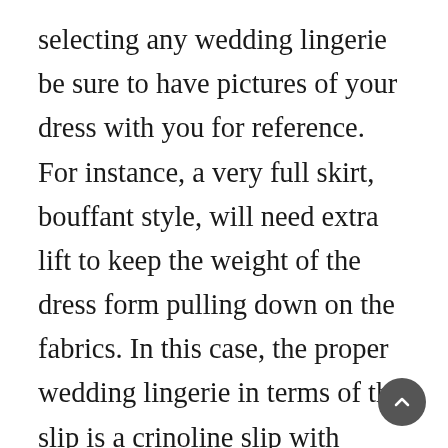selecting any wedding lingerie be sure to have pictures of your dress with you for reference. For instance, a very full skirt, bouffant style, will need extra lift to keep the weight of the dress form pulling down on the fabrics. In this case, the proper wedding lingerie in terms of the slip is a crinoline slip with many layers. For an A-line type wedding dress, crinoline with only one or two layers is your best bet. No matter what, you need to select your slip based on practicality. This is wedding